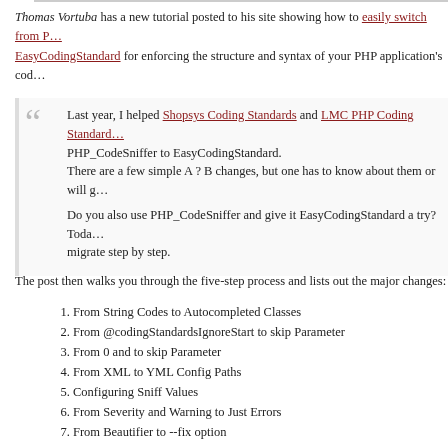Thomas Vortuba has a new tutorial posted to his site showing how to easily switch from PHP_CodeSniffer to EasyCodingStandard for enforcing the structure and syntax of your PHP application's code.
Last year, I helped Shopsys Coding Standards and LMC PHP Coding Standard migrate from PHP_CodeSniffer to EasyCodingStandard. There are a few simple A ? B changes, but one has to know about them or will get stuck. Do you also use PHP_CodeSniffer and give it EasyCodingStandard a try? Today I will show you how to migrate step by step.
The post then walks you through the five-step process and lists out the major changes:
1. From String Codes to Autocompleted Classes
2. From @codingStandardsIgnoreStart to skip Parameter
3. From 0 and to skip Parameter
4. From XML to YML Config Paths
5. Configuring Sniff Values
6. From Severity and Warning to Just Errors
7. From Beautifier to --fix option
Each step includes either the command required, the configuration changes to make or code to refactor to help illustrate the changes.
tagged: migrate phpcodesniffer easycodingstandard codingstandard syntax tutorial
LINK: HTTPS://WWW.TOMASVOTRUBA.CZ/BLOG/2018/06/04/HOW-TO-MIGRATE-FROM-PHP